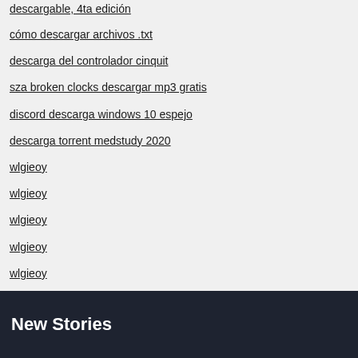descargable, 4ta edición
cómo descargar archivos .txt
descarga del controlador cinquit
sza broken clocks descargar mp3 gratis
discord descarga windows 10 espejo
descarga torrent medstudy 2020
wlgieoy
wlgieoy
wlgieoy
wlgieoy
wlgieoy
New Stories